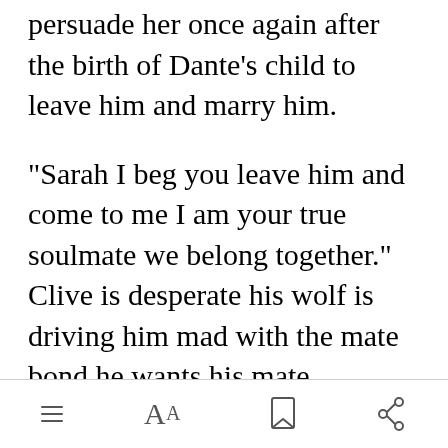persuade her once again after the birth of Dante's child to leave him and marry him.
"Sarah I beg you leave him and come to me I am your true soulmate we belong together." Clive is desperate his wolf is driving him mad with the mate bond he wants his mate.
[Figure (other): Green 'Open in app' button]
Bottom toolbar with menu, font size, bookmark, and share icons